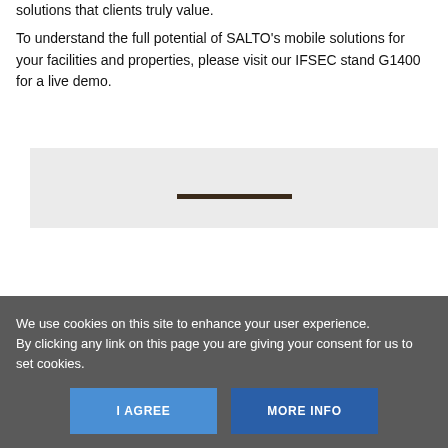solutions that clients truly value.
To understand the full potential of SALTO's mobile solutions for your facilities and properties, please visit our IFSEC stand G1400 for a live demo.
[Figure (photo): A light grey rectangular image area with a dark horizontal bar element near the center-right]
We use cookies on this site to enhance your user experience.
By clicking any link on this page you are giving your consent for us to set cookies.
I AGREE
MORE INFO